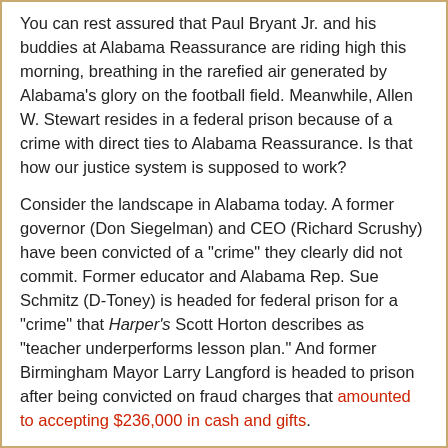You can rest assured that Paul Bryant Jr. and his buddies at Alabama Reassurance are riding high this morning, breathing in the rarefied air generated by Alabama's glory on the football field. Meanwhile, Allen W. Stewart resides in a federal prison because of a crime with direct ties to Alabama Reassurance. Is that how our justice system is supposed to work?
Consider the landscape in Alabama today. A former governor (Don Siegelman) and CEO (Richard Scrushy) have been convicted of a "crime" they clearly did not commit. Former educator and Alabama Rep. Sue Schmitz (D-Toney) is headed for federal prison for a "crime" that Harper's Scott Horton describes as "teacher underperforms lesson plan." And former Birmingham Mayor Larry Langford is headed to prison after being convicted on fraud charges that amounted to accepting $236,000 in cash and gifts.
We don't mean to soft pedal the actions that led to Langford's conviction. But even if you factor in the value of business Langford steered to an investment banker, the fraud was less than $8 million.